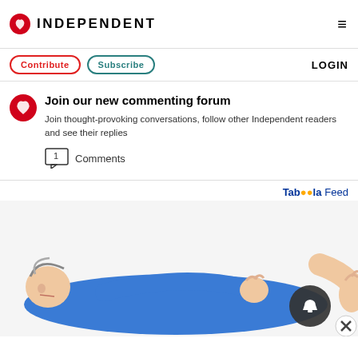INDEPENDENT
Contribute  Subscribe  LOGIN
Join our new commenting forum
Join thought-provoking conversations, follow other Independent readers and see their replies
1  Comments
[Figure (illustration): Taboola Feed advertisement banner with illustration of a person lying down in a blue outfit, with a notification bell icon and close button overlay]
Taboola Feed